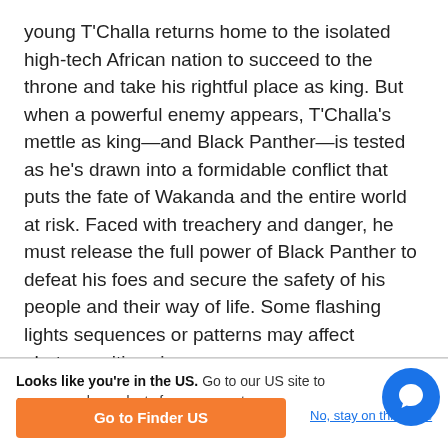young T'Challa returns home to the isolated high-tech African nation to succeed to the throne and take his rightful place as king. But when a powerful enemy appears, T'Challa's mettle as king—and Black Panther—is tested as he's drawn into a formidable conflict that puts the fate of Wakanda and the entire world at risk. Faced with treachery and danger, he must release the full power of Black Panther to defeat his foes and secure the safety of his people and their way of life. Some flashing lights sequences or patterns may affect photosensitive viewers.
Runtime
137mins
Looks like you're in the US. Go to our US site to compare rele products for your country.
Go to Finder US
No, stay on this page